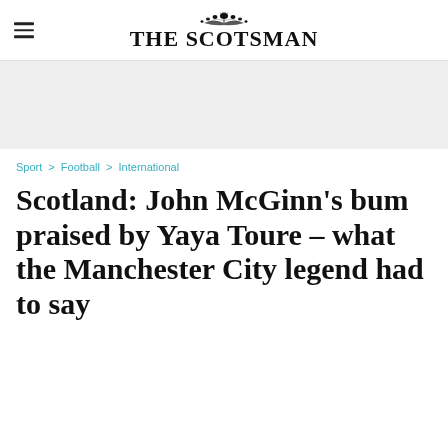THE SCOTSMAN
Sport > Football > International
Scotland: John McGinn's bum praised by Yaya Toure - what the Manchester City legend had to say